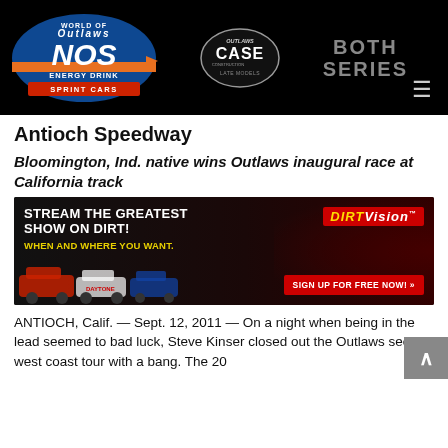[Figure (logo): World of Outlaws NOS Energy Drink Sprint Cars logo on black navigation bar, with Outlaws CASE Construction Late Models circular logo and BOTH SERIES text]
Antioch Speedway
Bloomington, Ind. native wins Outlaws inaugural race at California track
[Figure (photo): DIRTVision advertisement banner: 'STREAM THE GREATEST SHOW ON DIRT! WHEN AND WHERE YOU WANT.' with sprint cars racing and a trophy winner photo. 'SIGN UP FOR FREE NOW!' button.]
ANTIOCH, Calif. — Sept. 12, 2011 — On a night when being in the lead seemed to bad luck, Steve Kinser closed out the Outlaws second west coast tour with a bang. The 20